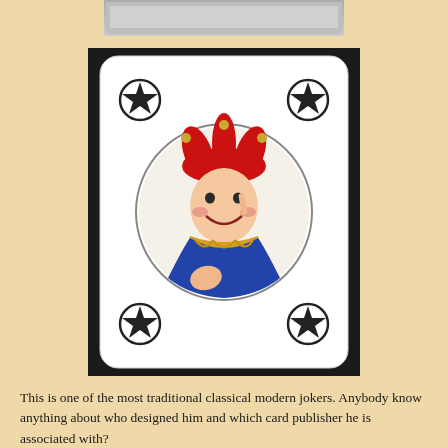[Figure (photo): Partial photo at top of page showing a cropped view of what appears to be a playing card or similar object, cut off at the top edge.]
[Figure (photo): Photo of a traditional joker playing card. The card is white with rounded corners and has a star-in-circle symbol in each of the four corners. In the center is a circular illustration of a jester/joker figure wearing a red multi-pointed jester hat with bells, a blue coat with yellow ruffled collar, smiling and holding one finger up to his cheek.]
This is one of the most traditional classical modern jokers. Anybody know anything about who designed him and which card publisher he is associated with?